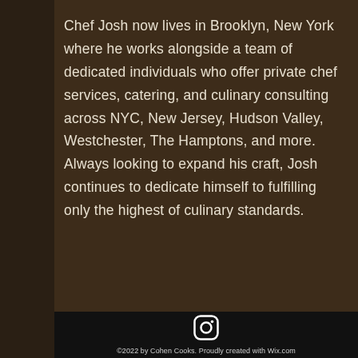Chef Josh now lives in Brooklyn, New York where he works alongside a team of dedicated individuals who offer private chef services, catering, and culinary consulting across NYC, New Jersey, Hudson Valley, Westchester, The Hamptons, and more. Always looking to expand his craft, Josh continues to dedicate himself to fulfilling only the highest of culinary standards.
[Figure (logo): Instagram logo icon in white on dark background]
©2022 by Cohen Cooks. Proudly created with Wix.com